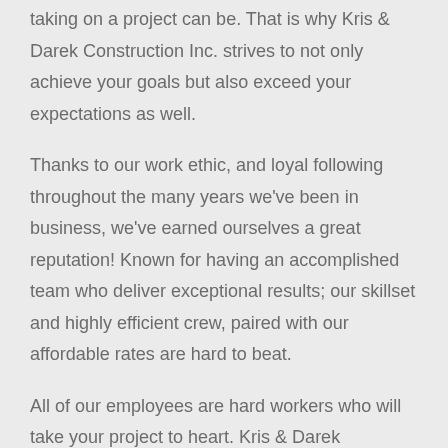taking on a project can be. That is why Kris & Darek Construction Inc. strives to not only achieve your goals but also exceed your expectations as well.
Thanks to our work ethic, and loyal following throughout the many years we've been in business, we've earned ourselves a great reputation! Known for having an accomplished team who deliver exceptional results; our skillset and highly efficient crew, paired with our affordable rates are hard to beat.
All of our employees are hard workers who will take your project to heart. Kris & Darek Construction Inc.